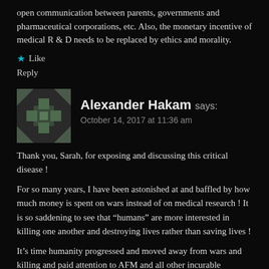open communication between parents, governments and pharmaceutical corporations, etc. Also, the monetary incentive of medical R & D needs to be replaced by ethics and morality.
★ Like
Reply
Alexander Hakam says:
October 14, 2017 at 11:36 am
Thank you, Sarah, for exposing and discussing this critical disease !
For so many years, I have been astonished at and baffled by how much money is spent on wars instead of on medical research ! It is so saddening to see that “humans” are more interested in killing one another and destroying lives rather than saving lives !
It’s time humanity progressed and moved away from wars and killing and paid attention to AFM and all other incurable diseases !